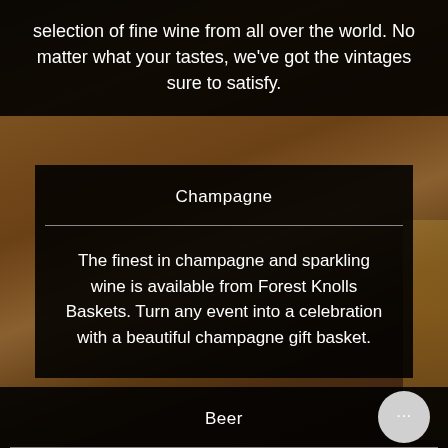selection of fine wine from all over the world. No matter what your tastes, we've got the vintages sure to satisfy.
[Figure (photo): Background photo of beer glasses and drinks on a wooden bar surface with warm brown tones]
Champagne
The finest in champagne and sparkling wine is available from Forest Knolls Baskets. Turn any event into a celebration with a beautiful champagne gift basket.
Beer